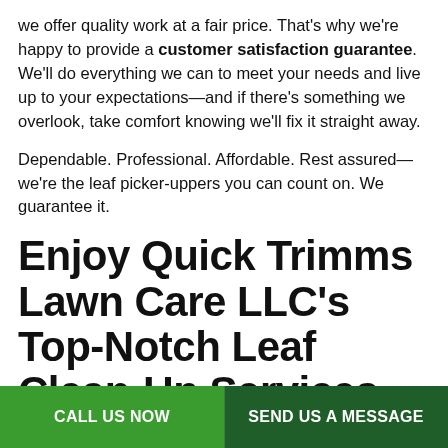we offer quality work at a fair price. That's why we're happy to provide a customer satisfaction guarantee. We'll do everything we can to meet your needs and live up to your expectations—and if there's something we overlook, take comfort knowing we'll fix it straight away.
Dependable. Professional. Affordable. Rest assured—we're the leaf picker-uppers you can count on. We guarantee it.
Enjoy Quick Trimms Lawn Care LLC's Top-Notch Leaf Clean-Up Services Today
This year, give yourself the gift of a spick-and-span lawn. Give
CALL US NOW | SEND US A MESSAGE